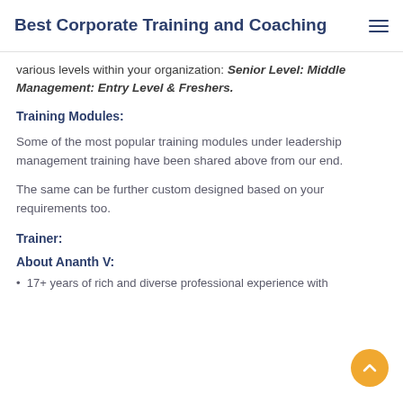Best Corporate Training and Coaching
various levels within your organization: Senior Level: Middle Management: Entry Level & Freshers.
Training Modules:
Some of the most popular training modules under leadership management training have been shared above from our end.
The same can be further custom designed based on your requirements too.
Trainer:
About Ananth V:
17+ years of rich and diverse professional experience with